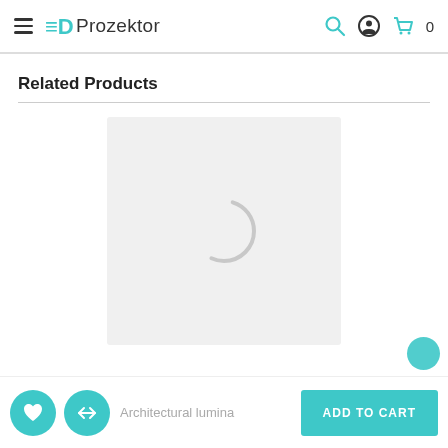Prozektor
Related Products
[Figure (screenshot): Product image loading placeholder — light grey square with a circular loading spinner outline in the center]
Architectural lumina…
ADD TO CART